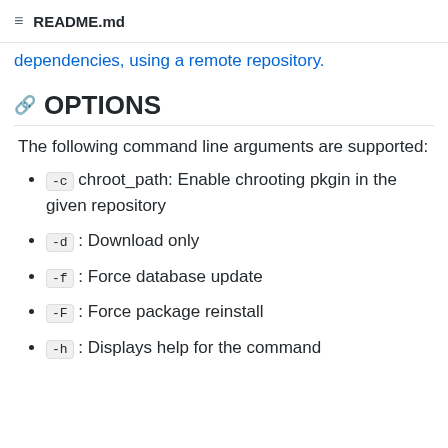README.md
dependencies, using a remote repository.
OPTIONS
The following command line arguments are supported:
-c chroot_path: Enable chrooting pkgin in the given repository
-d : Download only
-f : Force database update
-F : Force package reinstall
-h : Displays help for the command